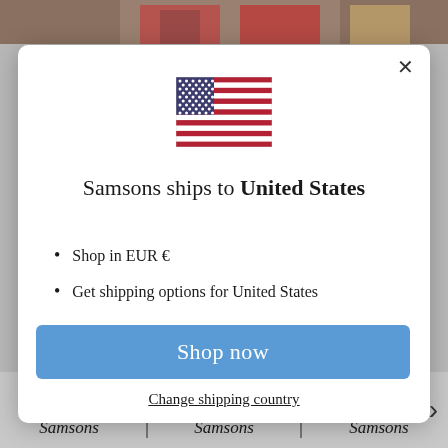[Figure (screenshot): Website modal dialog popup on a Samsons e-commerce page. Shows a US flag, shipping notice, bullet list, shop now button, and change shipping country link.]
Samsons ships to United States
Shop in EUR €
Get shipping options for United States
Shop now
Change shipping country
Samsons  Samsons  Samsons